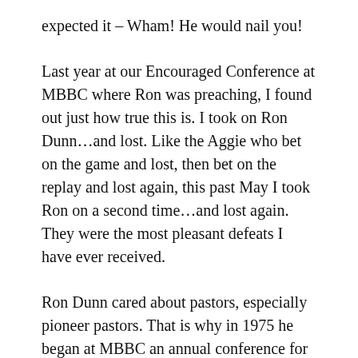expected it – Wham!  He would nail you!
Last year at our Encouraged Conference at MBBC where Ron was preaching, I found out just how true this is.  I took on Ron Dunn…and lost. Like the Aggie who bet on the game and lost, then bet on the replay and lost again, this past May I took Ron on a second time…and lost again. They were the most pleasant defeats I have ever received.
Ron Dunn cared about pastors, especially pioneer pastors.  That is why in 1975 he began at MBBC an annual conference for pioneer pastors called “the Encouraged Conference.” Since that time, more than 250 pastors and